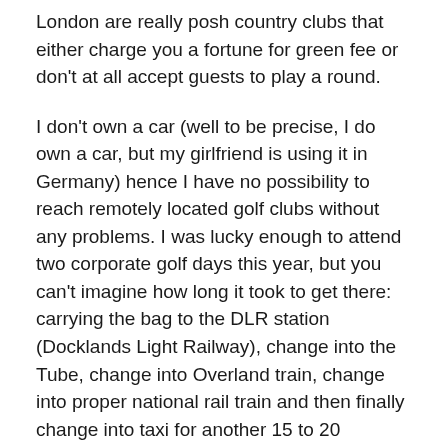London are really posh country clubs that either charge you a fortune for green fee or don't at all accept guests to play a round.
I don't own a car (well to be precise, I do own a car, but my girlfriend is using it in Germany) hence I have no possibility to reach remotely located golf clubs without any problems. I was lucky enough to attend two corporate golf days this year, but you can't imagine how long it took to get there: carrying the bag to the DLR station (Docklands Light Railway), change into the  Tube, change into Overland train, change into proper national rail train and then finally change into taxi for another 15 to 20 minutes ride to the course. That's really exhausting, believe me!
Truth be told I only played 8 and a half rounds this year!!… Think about that! Or better don't because it's really embarrassing! This definitely has to improve next